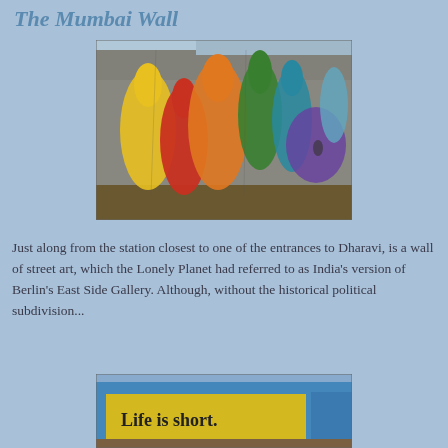The Mumbai Wall
[Figure (photo): Street art mural on a weathered concrete wall showing colorful raised hands in rainbow colors: yellow, red, orange, green, teal, blue, purple on a grey textured surface.]
Just along from the station closest to one of the entrances to Dharavi, is a wall of street art, which the Lonely Planet had referred to as India's version of Berlin's East Side Gallery. Although, without the historical political subdivision...
[Figure (photo): Bottom portion of a street art wall showing a yellow painted section with text 'Life is short.' and other colorful murals.]